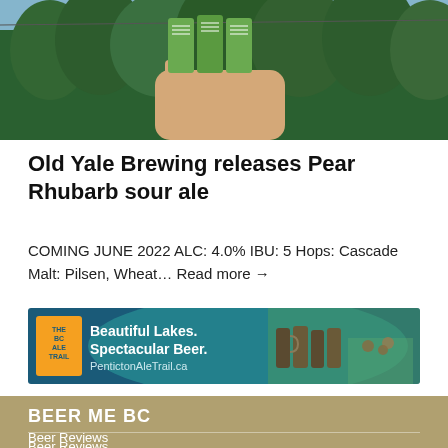[Figure (photo): Hand holding green beer cans up against a blue sky with trees in background]
Old Yale Brewing releases Pear Rhubarb sour ale
COMING JUNE 2022 ALC: 4.0% IBU: 5 Hops: Cascade Malt: Pilsen, Wheat... Read more →
[Figure (photo): BC Ale Trail advertisement banner: Beautiful Lakes. Spectacular Beer. PentictonAleTrail.ca]
BEER ME BC
Beer Reviews
Original Stories
Beer In The News